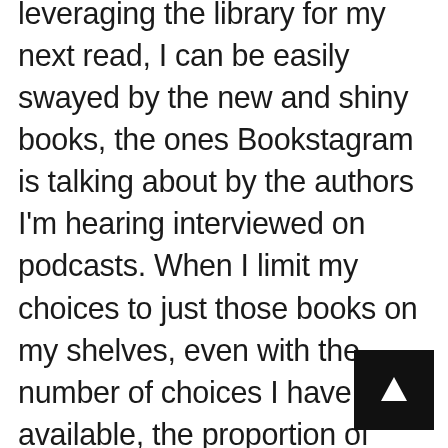leveraging the library for my next read, I can be easily swayed by the new and shiny books, the ones Bookstagram is talking about by the authors I'm hearing interviewed on podcasts. When I limit my choices to just those books on my shelves, even with the number of choices I have available, the proportion of older books and the likelihood I'll pick them up is much higher. It has been a refreshing joy to dig into more tried and true books this year.
Of course, the experience hasn't been without its challenges. The world of new and shiny books is ever-calling. Its lure is perhaps even stronger because of the fact that I want to publish my own book and am hoping to begin the querying process this calendar year. Anyone who's gone through that adventure